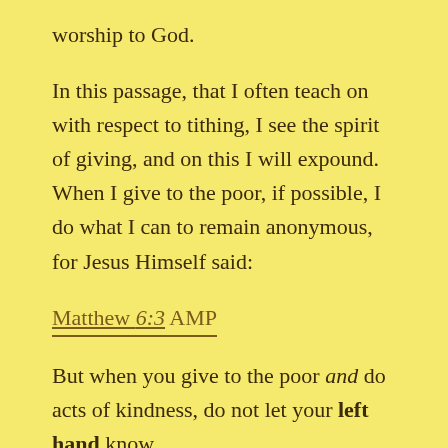worship to God.
In this passage, that I often teach on with respect to tithing, I see the spirit of giving, and on this I will expound. When I give to the poor, if possible, I do what I can to remain anonymous, for Jesus Himself said:
Matthew 6:3 AMP
But when you give to the poor and do acts of kindness, do not let your left hand know